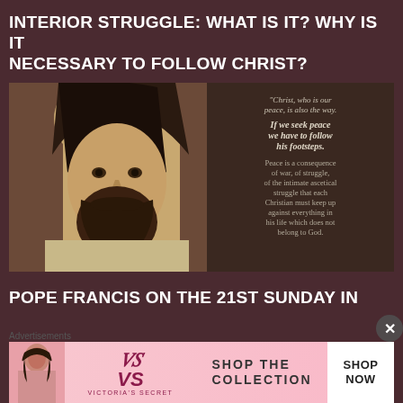INTERIOR STRUGGLE: WHAT IS IT? WHY IS IT NECESSARY TO FOLLOW CHRIST?
[Figure (photo): Image of a man resembling Jesus wearing a hood/robe with white text overlay containing a religious quote about Christ, peace, and interior struggle]
POPE FRANCIS ON THE 21ST SUNDAY IN
Advertisements
[Figure (infographic): Victoria's Secret advertisement banner with model photo, VS logo, 'SHOP THE COLLECTION' text, and 'SHOP NOW' button]